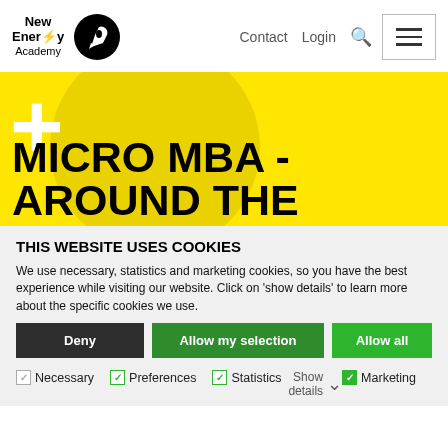[Figure (logo): New Energy Academy logo with rocket icon in black circle]
Contact   Login   🔍
[Figure (illustration): Yellow hero banner with white plus sign, yellow circle, and large bold text: MICRO MBA - AROUND THE]
MICRO MBA - AROUND THE
THIS WEBSITE USES COOKIES
We use necessary, statistics and marketing cookies, so you have the best experience while visiting our website. Click on 'show details' to learn more about the specific cookies we use.
Deny | Allow my selection | Allow all
Necessary   Preferences   Statistics   Show details   Marketing